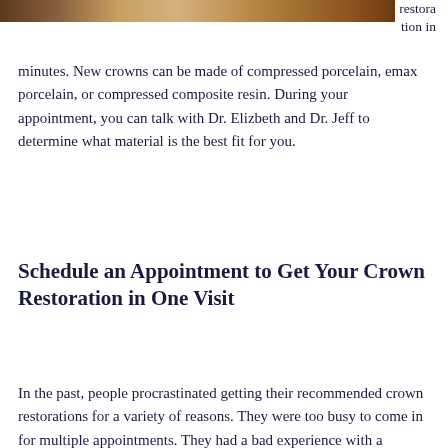[Figure (photo): Partial photo of a dental crown or dental procedure at the top of the page]
restora
tion in
minutes. New crowns can be made of compressed porcelain, emax porcelain, or compressed composite resin. During your appointment, you can talk with Dr. Elizbeth and Dr. Jeff to determine what material is the best fit for you.
Schedule an Appointment to Get Your Crown Restoration in One Visit
In the past, people procrastinated getting their recommended crown restorations for a variety of reasons. They were too busy to come in for multiple appointments. They had a bad experience with a temporary crown. Or they thought the process of